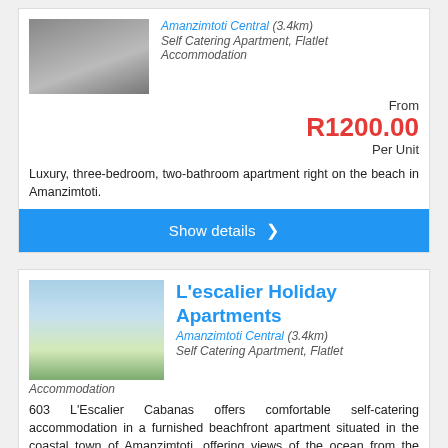[Figure (photo): Photo of an apartment building with parked cars in front]
Amanzimtoti Central (3.4km)
Self Catering Apartment, Flatlet Accommodation
From
R1200.00
Per Unit
Luxury, three-bedroom, two-bathroom apartment right on the beach in Amanzimtoti.
Show details ❯
[Figure (photo): Photo of a beachfront view with ocean, sand, and vegetation]
L'escalier Holiday Apartments
Amanzimtoti Central (3.4km)
Self Catering Apartment, Flatlet Accommodation
603 L'Escalier Cabanas offers comfortable self-catering accommodation in a furnished beachfront apartment situated in the coastal town of Amanzimtoti, offering views of the ocean from the balcony, and situated within walking distance ...
Show details ❯